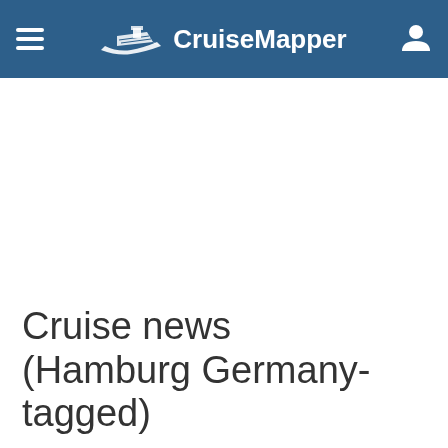CruiseMapper
Cruise news (Hamburg Germany-tagged)